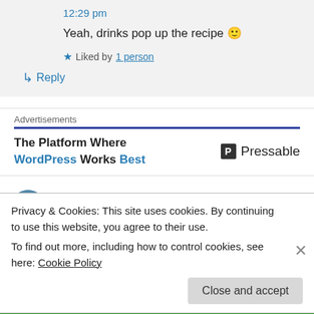12:29 pm
Yeah, drinks pop up the recipe 🙂
★ Liked by 1 person
↳ Reply
Advertisements
[Figure (other): Pressable advertisement: 'The Platform Where WordPress Works Best' with Pressable logo]
anotherday2paradise on October 8, 2014 at 7:22 am
Privacy & Cookies: This site uses cookies. By continuing to use this website, you agree to their use.
To find out more, including how to control cookies, see here: Cookie Policy